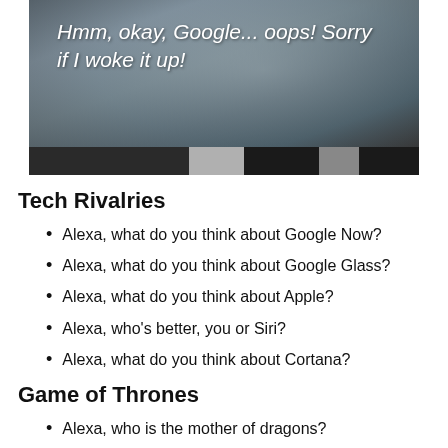[Figure (photo): A dark textured surface (chalkboard or slate) with italic white text reading: Hmm, okay, Google... oops! Sorry if I woke it up!]
Tech Rivalries
Alexa, what do you think about Google Now?
Alexa, what do you think about Google Glass?
Alexa, what do you think about Apple?
Alexa, who's better, you or Siri?
Alexa, what do you think about Cortana?
Game of Thrones
Alexa, who is the mother of dragons?